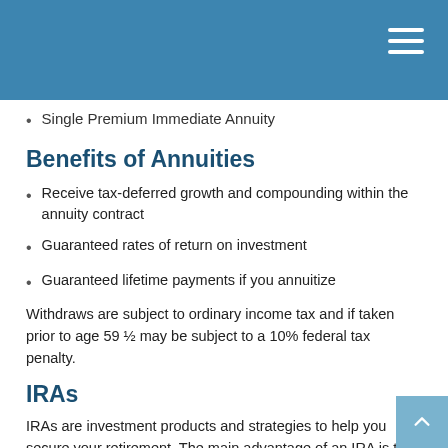Single Premium Immediate Annuity
Benefits of Annuities
Receive tax-deferred growth and compounding within the annuity contract
Guaranteed rates of return on investment
Guaranteed lifetime payments if you annuitize
Withdraws are subject to ordinary income tax and if taken prior to age 59 ½ may be subject to a 10% federal tax penalty.
IRAs
IRAs are investment products and strategies to help you secure your retirement. The main advantage of an IRA is that you defer